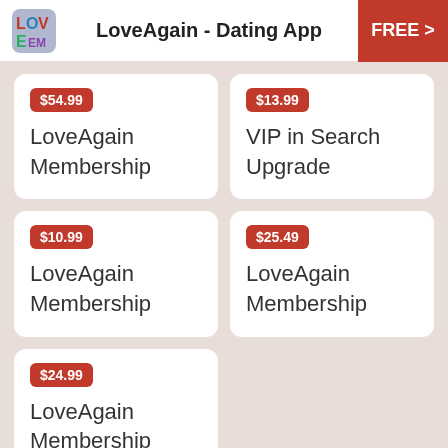LoveAgain - Dating App | FREE >
$54.99
LoveAgain Membership
$13.99
VIP in Search Upgrade
$10.99
LoveAgain Membership
$25.49
LoveAgain Membership
$24.99
LoveAgain Membership